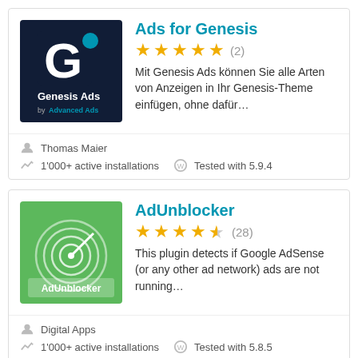[Figure (logo): Ads for Genesis plugin logo - dark navy blue background with 'G' icon and 'Genesis Ads by Advanced Ads' text]
Ads for Genesis
[Figure (other): 5 gold stars rating with (2) count]
Mit Genesis Ads können Sie alle Arten von Anzeigen in Ihr Genesis-Theme einfügen, ohne dafür...
Thomas Maier
1'000+ active installations   Tested with 5.9.4
[Figure (logo): AdUnblocker plugin logo - green background with circular radar/signal icon and 'AdUnblocker' label]
AdUnblocker
[Figure (other): 4.5 gold stars rating with (28) count]
This plugin detects if Google AdSense (or any other ad network) ads are not running...
Digital Apps
1'000+ active installations   Tested with 5.8.5